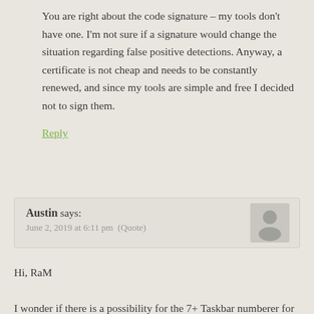You are right about the code signature – my tools don't have one. I'm not sure if a signature would change the situation regarding false positive detections. Anyway, a certificate is not cheap and needs to be constantly renewed, and since my tools are simple and free I decided not to sign them.
Reply
Austin says:
June 2, 2019 at 6:11 pm  (Quote)
Hi, RaM

I wonder if there is a possibility for the 7+ Taskbar numberer for Windows 10 May 2019 Update.

I cannot use win 10 without your fantastic tool.

I am not sure how much works on the integration the new update of 7+ Taskbar Tweaker into 7+ Taskbar numberer for